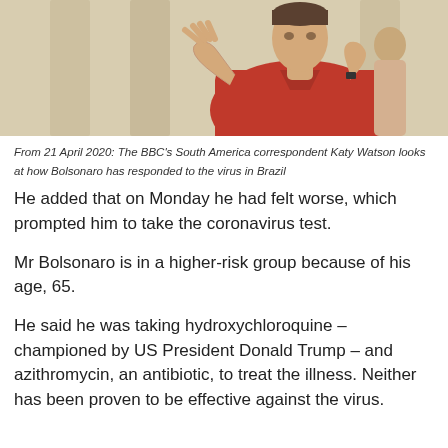[Figure (photo): Man in red polo shirt gesturing with hands, appearing to be speaking outdoors near columns]
From 21 April 2020: The BBC's South America correspondent Katy Watson looks at how Bolsonaro has responded to the virus in Brazil
He added that on Monday he had felt worse, which prompted him to take the coronavirus test.
Mr Bolsonaro is in a higher-risk group because of his age, 65.
He said he was taking hydroxychloroquine – championed by US President Donald Trump – and azithromycin, an antibiotic, to treat the illness. Neither has been proven to be effective against the virus.